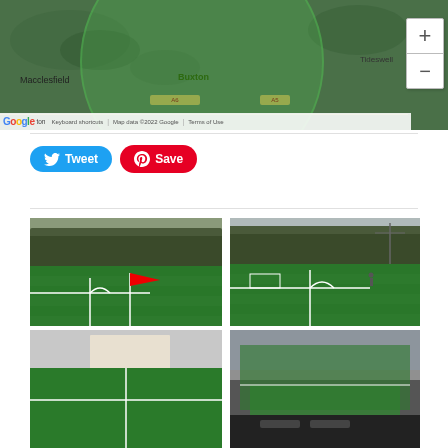[Figure (map): Google Maps view showing Buxton area with a green circular radius overlay. Labels: Macclesfield, Buxton, Tideswell. Zoom controls (+/-) visible on right. Bottom bar shows Google logo, Keyboard shortcuts, Map data ©2022 Google, Terms of Use.]
[Figure (screenshot): Social sharing buttons: blue Twitter Tweet button and red Pinterest Save button]
[Figure (photo): Photo of a football/soccer pitch corner with red corner flag on artificial green turf, trees in background]
[Figure (photo): Photo of football/soccer pitch corner area on artificial green turf, goal visible in background, trees and power lines visible]
[Figure (photo): Partial photo of football pitch, bottom of page, cut off]
[Figure (photo): Partial photo, bottom right, cut off]